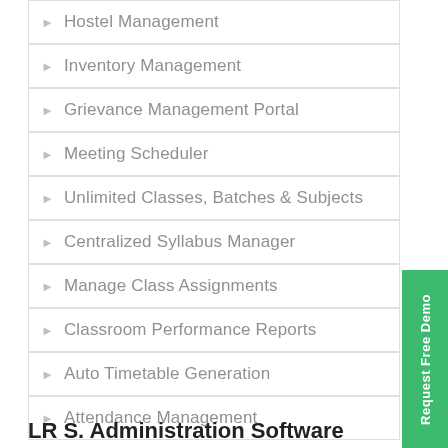Hostel Management
Inventory Management
Grievance Management Portal
Meeting Scheduler
Unlimited Classes, Batches & Subjects
Centralized Syllabus Manager
Manage Class Assignments
Classroom Performance Reports
Auto Timetable Generation
Attendance Management
LR S. Administration Software